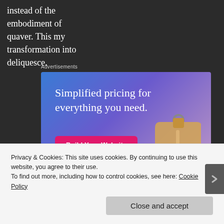instead of the embodiment of quaver. This my transformation into deliquesce.
Advertisements
[Figure (screenshot): Advertisement banner with gradient blue-purple background showing text 'Simplified pricing for everything you need.' with a pink 'Build Your Website' button and a 3D price tag image on the right]
Privacy & Cookies: This site uses cookies. By continuing to use this website, you agree to their use.
To find out more, including how to control cookies, see here: Cookie Policy
Close and accept